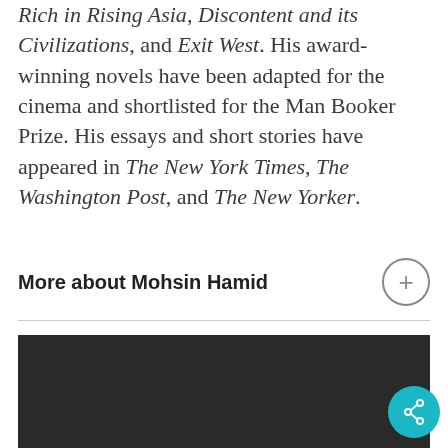Rich in Rising Asia, Discontent and its Civilizations, and Exit West. His award-winning novels have been adapted for the cinema and shortlisted for the Man Booker Prize. His essays and short stories have appeared in The New York Times, The Washington Post, and The New Yorker.
More about Mohsin Hamid
[Figure (photo): Dark background image panel at bottom of page, partially visible]